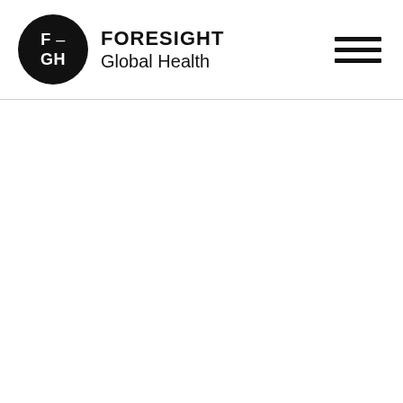[Figure (logo): Foresight Global Health logo consisting of a black circle with white text 'F – GH' and the brand name 'FORESIGHT Global Health' in bold/regular sans-serif typography, with a hamburger menu icon on the right]